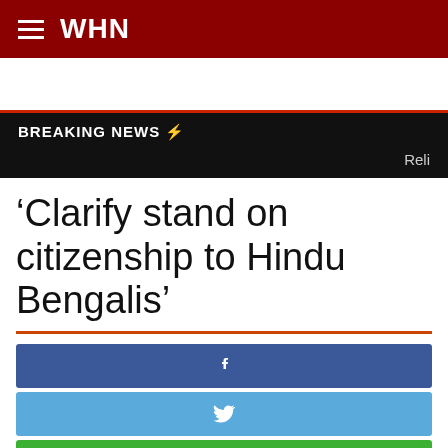WHN
BREAKING NEWS ⚡
Reli
'Clarify stand on citizenship to Hindu Bengalis'
[Figure (infographic): Social media share buttons: Facebook (blue), Twitter (light blue), WhatsApp (green), Email (light blue) with scroll-to-top button]
Posted on December 30, 2016 by WHN